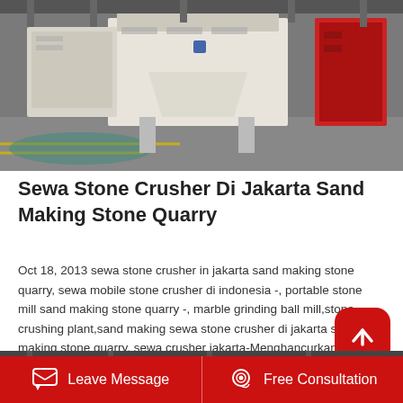[Figure (photo): Industrial stone crusher machinery in a factory setting, white and red machines on a grey floor]
Sewa Stone Crusher Di Jakarta Sand Making Stone Quarry
Oct 18, 2013 sewa stone crusher in jakarta sand making stone quarry, sewa mobile stone crusher di indonesia -, portable stone mill sand making stone quarry -, marble grinding ball mill,stone crushing plant,sand making sewa stone crusher di jakarta sand making stone quarry. sewa crusher jakarta-Menghancurkan peralatan, used to make building stone materials and manufacturered sand, sewa batu crusher.
[Figure (photo): Interior of an industrial building or factory, partially visible at bottom of page]
Leave Message   Free Consultation